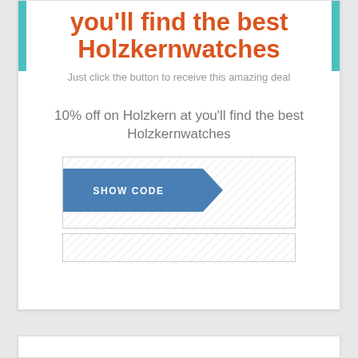you'll find the best Holzkernwatches
Just click the button to receive this amazing deal
10% off on Holzkern at you'll find the best Holzkernwatches
[Figure (other): A coupon widget with a blue 'SHOW CODE' button overlapping a hatched coupon reveal area, plus a smaller hatched strip below.]